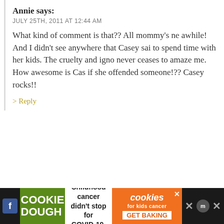Annie says:
JULY 25TH, 2011 AT 12:44 AM
What kind of comment is that?? All mommy’s ne awhile! And I didn’t see anywhere that Casey sai to spend time with her kids. The cruelty and igno never ceases to amaze me. How awesome is Cas if she offended someone!?? Casey rocks!!
> Reply
Jenn says:
JULY 19TH, 2011 AT 8:09 AM
They didn’t go b/c Mike wanted to see the movie. Mi Annie at the movies since he didn’t get to see Maddie The movies are set up that way so the PARENTS can movie with their baby instead of having to hire a bab whole idea of it and they usually only play 1 movie fo Mother/Father & Baby Movie time and obviously the
[Figure (infographic): Advertisement banner at bottom: Cookie Dough brand ad with text 'Childhood cancer didn’t stop for COVID-19.' and cookies for kids cancer GET BAKING button]